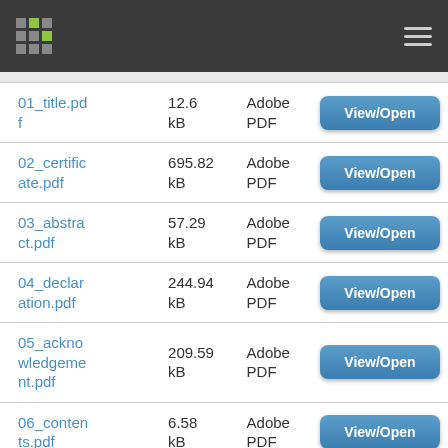Navigation header with logo and menu
| Filename | Size | Format | Action |
| --- | --- | --- | --- |
| 01_title.pdf | 12.6 kB | Adobe PDF | View/Open |
| 02_certificate.pdf | 695.82 kB | Adobe PDF | View/Open |
| 03_abstract.pdf | 57.29 kB | Adobe PDF | View/Open |
| 04_declaration.pdf | 244.94 kB | Adobe PDF | View/Open |
| 05_acknowledgement.pdf | 209.59 kB | Adobe PDF | View/Open |
| 06_contents.pdf | 6.58 kB | Adobe PDF | View/Open |
| 07_list_of... | 9.88 | Adobe | View/Open |